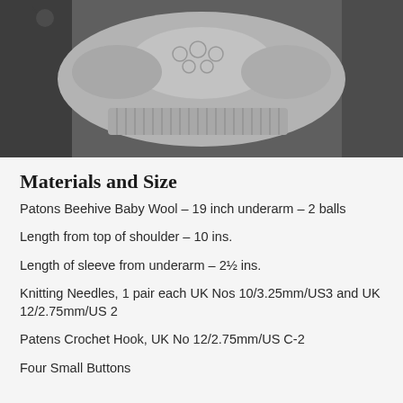[Figure (photo): Black and white photo of a knitted baby sweater/cardigan with lace pattern detail, photographed against a dark background with some floral elements]
Materials and Size
Patons Beehive Baby Wool – 19 inch underarm – 2 balls
Length from top of shoulder – 10 ins.
Length of sleeve from underarm – 2½ ins.
Knitting Needles, 1 pair each UK Nos 10/3.25mm/US3 and UK 12/2.75mm/US 2
Patens Crochet Hook, UK No 12/2.75mm/US C-2
Four Small Buttons